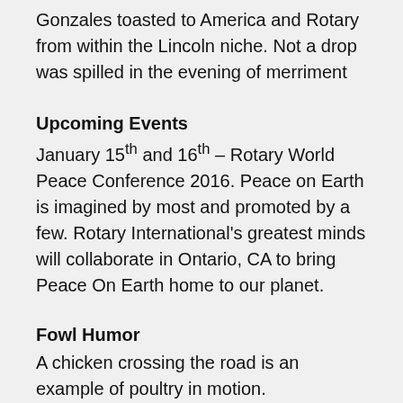Gonzales toasted to America and Rotary from within the Lincoln niche. Not a drop was spilled in the evening of merriment
Upcoming Events
January 15th and 16th – Rotary World Peace Conference 2016. Peace on Earth is imagined by most and promoted by a few. Rotary International's greatest minds will collaborate in Ontario, CA to bring Peace On Earth home to our planet.
Fowl Humor
A chicken crossing the road is an example of poultry in motion.
Birthday List
December birthdays are often